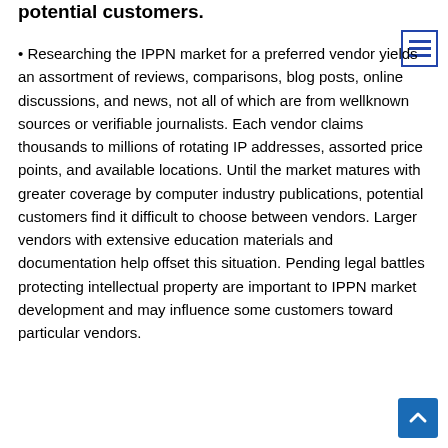potential customers.
• Researching the IPPN market for a preferred vendor yields an assortment of reviews, comparisons, blog posts, online discussions, and news, not all of which are from wellknown sources or verifiable journalists. Each vendor claims thousands to millions of rotating IP addresses, assorted price points, and available locations. Until the market matures with greater coverage by computer industry publications, potential customers find it difficult to choose between vendors. Larger vendors with extensive education materials and documentation help offset this situation. Pending legal battles protecting intellectual property are important to IPPN market development and may influence some customers toward particular vendors.